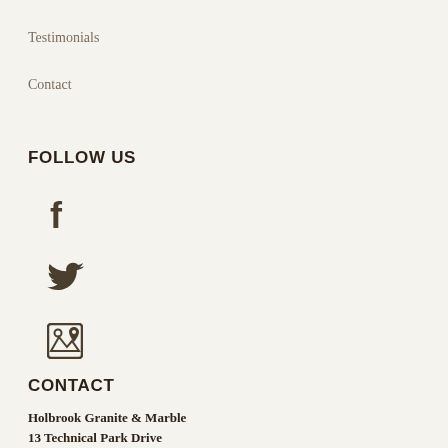Testimonials
Contact
FOLLOW US
[Figure (other): Facebook social media icon (stylized f)]
[Figure (other): Twitter social media icon (bird)]
[Figure (other): Google Maps / location icon]
CONTACT
Holbrook Granite & Marble
13 Technical Park Drive